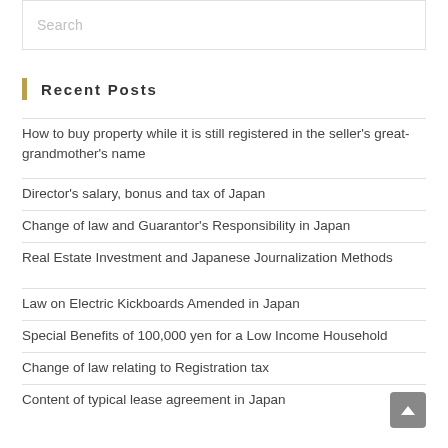Search
Recent Posts
How to buy property while it is still registered in the seller's great-grandmother's name
Director's salary, bonus and tax of Japan
Change of law and Guarantor's Responsibility in Japan
Real Estate Investment and Japanese Journalization Methods
Law on Electric Kickboards Amended in Japan
Special Benefits of 100,000 yen for a Low Income Household
Change of law relating to Registration tax
Content of typical lease agreement in Japan